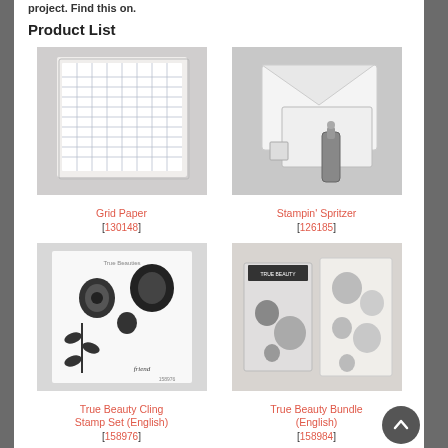Product List
[Figure (photo): Grid Paper product photo]
Grid Paper
[130148]
[Figure (photo): Stampin' Spritzer product photo]
Stampin' Spritzer
[126185]
[Figure (photo): True Beauty Cling Stamp Set (English) product photo]
True Beauty Cling Stamp Set (English)
[158976]
[Figure (photo): True Beauty Bundle (English) product photo]
True Beauty Bundle (English)
[158984]
[Figure (photo): Gray frame/mat product photo (partially visible)]
[Figure (photo): Stampin' Pad (berry/magenta) product photo (partially visible)]